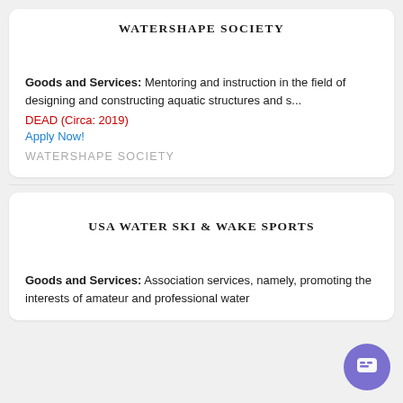WATERSHAPE SOCIETY
Goods and Services: Mentoring and instruction in the field of designing and constructing aquatic structures and s...
DEAD (Circa: 2019)
Apply Now!
WATERSHAPE SOCIETY
USA WATER SKI & WAKE SPORTS
Goods and Services: Association services, namely, promoting the interests of amateur and professional water